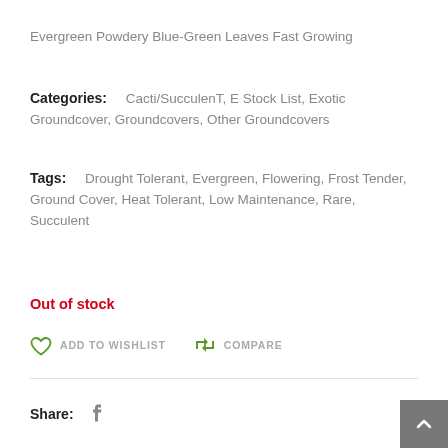Evergreen Powdery Blue-Green Leaves Fast Growing
Categories: Cacti/SucculenT, E Stock List, Exotic Groundcover, Groundcovers, Other Groundcovers
Tags: Drought Tolerant, Evergreen, Flowering, Frost Tender, Ground Cover, Heat Tolerant, Low Maintenance, Rare, Succulent
Out of stock
ADD TO WISHLIST  COMPARE
Share: